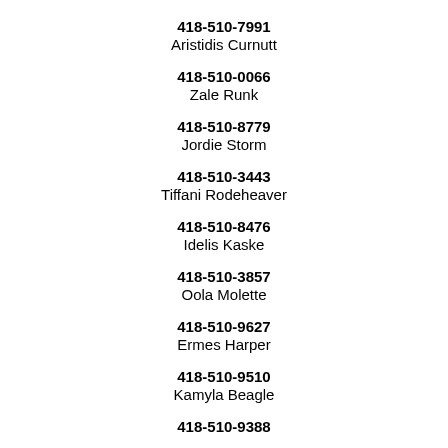418-510-7991
Aristidis Curnutt
418-510-0066
Zale Runk
418-510-8779
Jordie Storm
418-510-3443
Tiffani Rodeheaver
418-510-8476
Idelis Kaske
418-510-3857
Oola Molette
418-510-9627
Ermes Harper
418-510-9510
Kamyla Beagle
418-510-9388